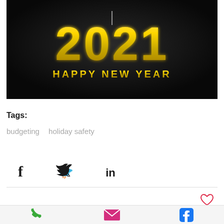[Figure (illustration): Dark background image with large golden glittery '2021' text and 'HAPPY NEW YEAR' written below in gold letters]
Tags:
budgeting   holiday safety
[Figure (infographic): Social sharing icons: Facebook (f), Twitter (bird), LinkedIn (in)]
[Figure (infographic): Heart (like) icon in red/pink outline]
[Figure (infographic): Bottom navigation bar with phone icon (green), email/envelope icon (pink), Facebook icon (blue)]